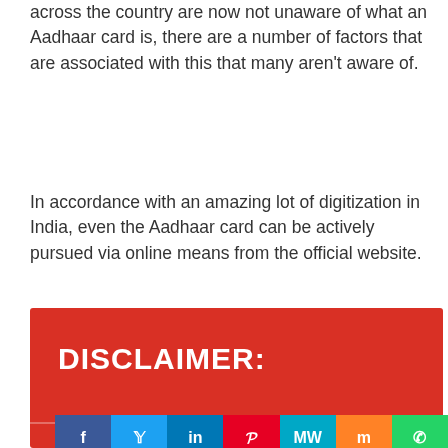across the country are now not unaware of what an Aadhaar card is, there are a number of factors that are associated with this that many aren't aware of.
In accordance with an amazing lot of digitization in India, even the Aadhaar card can be actively pursued via online means from the official website.
[Figure (other): Red disclaimer box with bold white text reading DISCLAIMER:]
[Figure (other): Social media sharing bar with Facebook, Twitter, LinkedIn, Pinterest, MW, Mix, and WhatsApp buttons]